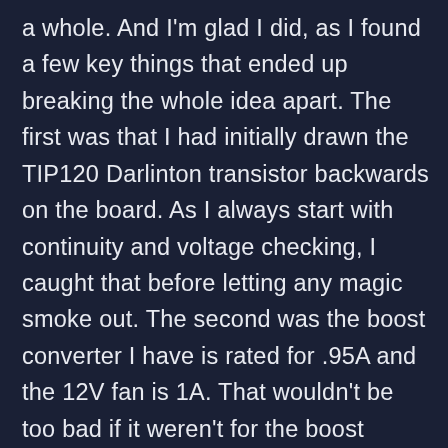a whole. And I'm glad I did, as I found a few key things that ended up breaking the whole idea apart. The first was that I had initially drawn the TIP120 Darlinton transistor backwards on the board. As I always start with continuity and voltage checking, I caught that before letting any magic smoke out. The second was the boost converter I have is rated for .95A and the 12V fan is 1A. That wouldn't be too bad if it weren't for the boost rating being on the input and the voltage conversion is approximately like a transformer where the voltage being multiplied up means that the current available goes down. Going from 5V to 12V meant that the 1A fan